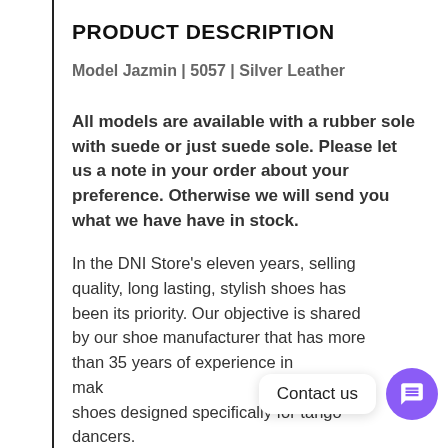PRODUCT DESCRIPTION
Model Jazmin | 5057 | Silver Leather
All models are available with a rubber sole with suede or just suede sole. Please let us a note in your order about your preference. Otherwise we will send you what we have have in stock.
In the DNI Store’s eleven years, selling quality, long lasting, stylish shoes has been its priority. Our objective is shared by our shoe manufacturer that has more than 35 years of experience in mak… shoes designed specifically for tango dancers.